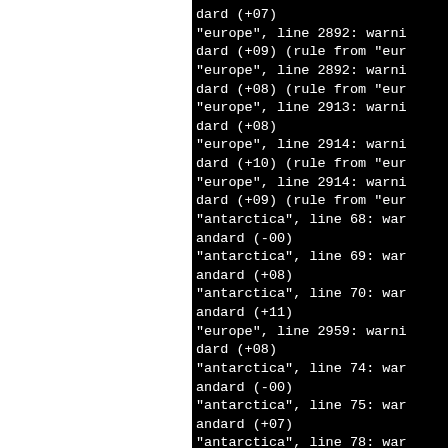[Figure (screenshot): Terminal/console output on black background showing warning messages for timezone rules from 'europe' and 'antarctica' files, with line numbers and UTC offset values. Left portion of page is white (blank).]